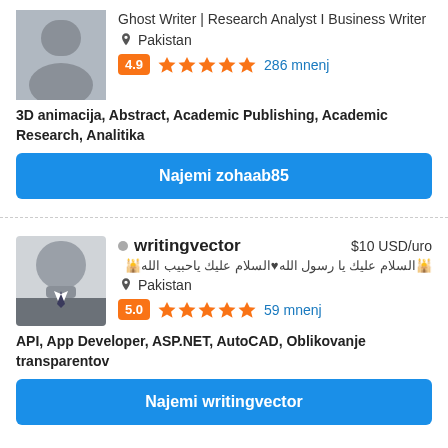[Figure (photo): Partial profile photo of first user (zohaab85), cropped at top]
Ghost Writer | Research Analyst I Business Writer
Pakistan
4.9  ★★★★★  286 mnenj
3D animacija, Abstract, Academic Publishing, Academic Research, Analitika
Najemi zohaab85
[Figure (photo): Profile photo of writingvector, a man in a suit]
writingvector  $10 USD/uro
🕌السلام عليك يا رسول الله♥السلام عليك ياحبيب الله🕌
Pakistan
5.0  ★★★★★  59 mnenj
API, App Developer, ASP.NET, AutoCAD, Oblikovanje transparentov
Najemi writingvector